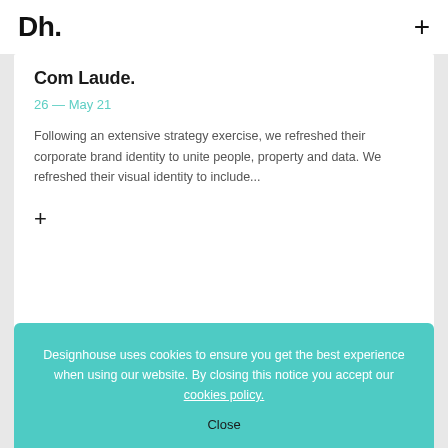Dh. +
Com Laude.
26 — May 21
Following an extensive strategy exercise, we refreshed their corporate brand identity to unite people, property and data. We refreshed their visual identity to include...
+
Designhouse uses cookies to ensure you get the best experience when using our website. By closing this notice you accept our cookies policy.
Close